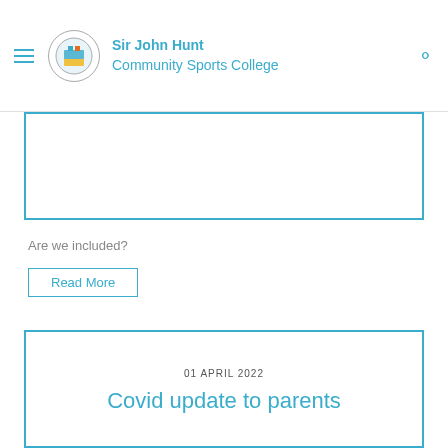Sir John Hunt Community Sports College
Are we included?
Read More
01 APRIL 2022
Covid update to parents